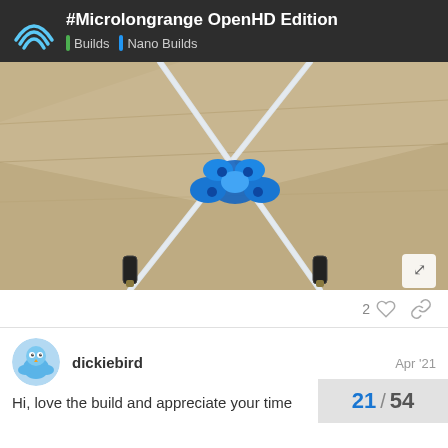#Microlongrange OpenHD Edition | Builds | Nano Builds
[Figure (photo): Close-up photo of two antenna wires crossing on a cardboard surface, held together at the crossing point by a small blue 3D-printed mount/bracket with antenna connectors at the bottom ends.]
2
dickiebird Apr '21
Hi, love the build and appreciate your time
21 / 54